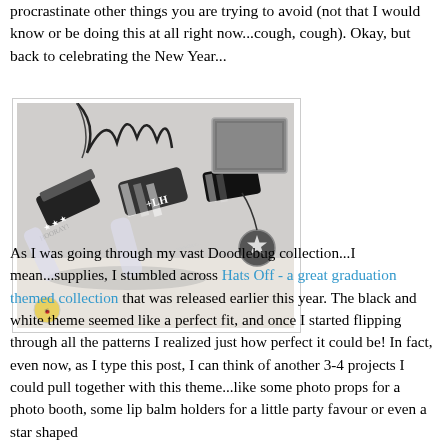procrastinate other things you are trying to avoid (not that I would know or be doing this at all right now...cough, cough). Okay, but back to celebrating the New Year...
[Figure (photo): Black and white New Year themed party supplies including decorated cylindrical containers/poppers with stripes and stars pattern, arranged on a light surface. Doodlebug branding visible.]
As I was going through my vast Doodlebug collection...I mean...supplies, I stumbled across Hats Off - a great graduation themed collection that was released earlier this year. The black and white theme seemed like a perfect fit, and once I started flipping through all the patterns I realized just how perfect it could be! In fact, even now, as I type this post, I can think of another 3-4 projects I could pull together with this theme...like some photo props for a photo booth, some lip balm holders for a little party favour or even a star shaped banner. But perhaps I should talk about the project at h...